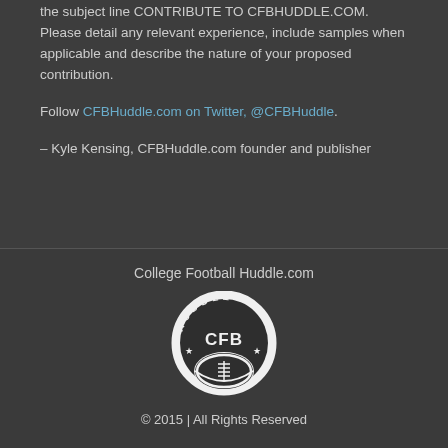the subject line CONTRIBUTE TO CFBHUDDLE.COM. Please detail any relevant experience, include samples when applicable and describe the nature of your proposed contribution.
Follow CFBHuddle.com on Twitter, @CFBHuddle.
– Kyle Kensing, CFBHuddle.com founder and publisher
College Football Huddle.com
[Figure (logo): CFBHuddle.com circular logo with football and text HUDDLE and CFB with stars]
© 2015 | All Rights Reserved